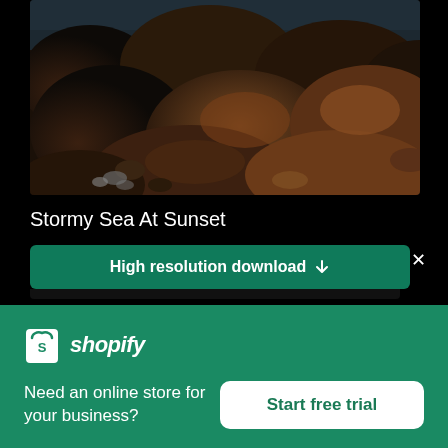[Figure (photo): Close-up photo of large dark coastal rocks/boulders in warm reddish-brown tones with a stormy sea background]
Stormy Sea At Sunset
High resolution download ↓
[Figure (logo): Shopify logo — white shopping bag icon with 'S' and italic 'shopify' text in white]
Need an online store for your business?
Start free trial